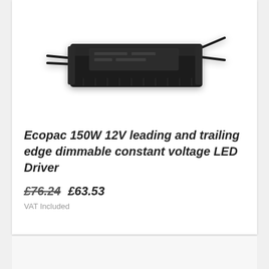[Figure (photo): Photo of a black rectangular LED driver unit with wires on both ends — Ecopac 150W 12V dimmable constant voltage LED Driver]
Ecopac 150W 12V leading and trailing edge dimmable constant voltage LED Driver
£76.24  £63.53
VAT Included